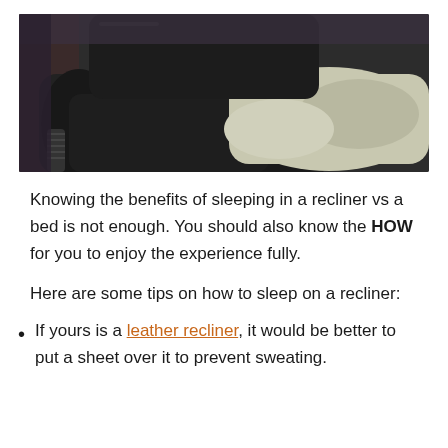[Figure (photo): Person reclining in a black leather recliner chair, hands folded, wearing light-colored pants, viewed from mid-body.]
Knowing the benefits of sleeping in a recliner vs a bed is not enough. You should also know the HOW for you to enjoy the experience fully.
Here are some tips on how to sleep on a recliner:
If yours is a leather recliner, it would be better to put a sheet over it to prevent sweating.